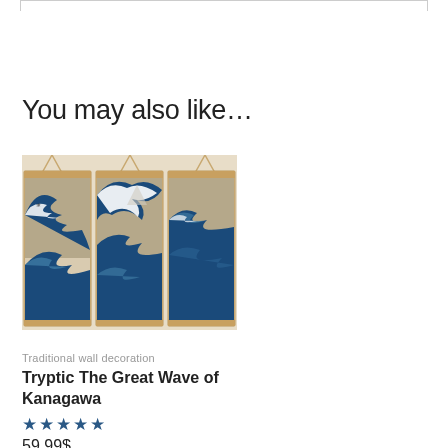You may also like…
[Figure (photo): Triptych wall hanging of The Great Wave of Kanagawa — three wooden-framed scroll panels side by side showing Hokusai's famous woodblock print of a large ocean wave with Mount Fuji in the background.]
Traditional wall decoration
Tryptic The Great Wave of Kanagawa
Rated 5 out of 5 stars
59.99$